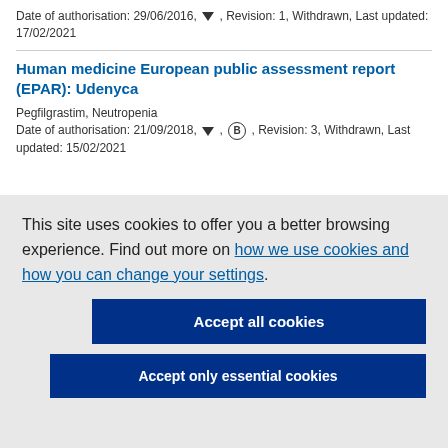Date of authorisation: 29/06/2016, ▼ , Revision: 1, Withdrawn, Last updated: 17/02/2021
Human medicine European public assessment report (EPAR): Udenyca
Pegfilgrastim, Neutropenia
Date of authorisation: 21/09/2018, ▼ , B , Revision: 3, Withdrawn, Last updated: 15/02/2021
This site uses cookies to offer you a better browsing experience. Find out more on how we use cookies and how you can change your settings.
Accept all cookies
Accept only essential cookies